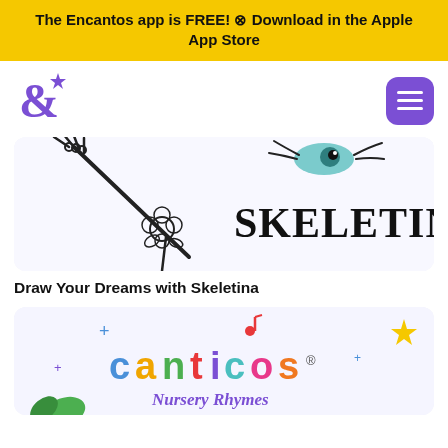The Encantos app is FREE! ⊗ Download in the Apple App Store
[Figure (logo): Encantos ampersand star logo in purple]
[Figure (illustration): Skeletina character illustration with skeleton hand holding flowers and SKELETINA text logo]
Draw Your Dreams with Skeletina
[Figure (logo): Canticos Nursery Rhymes logo with colorful text on light purple background, decorative stars and sparkles]